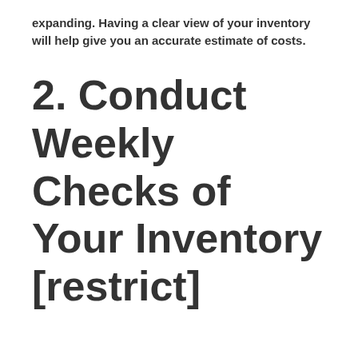expanding. Having a clear view of your inventory will help give you an accurate estimate of costs.
2. Conduct Weekly Checks of Your Inventory [restrict]